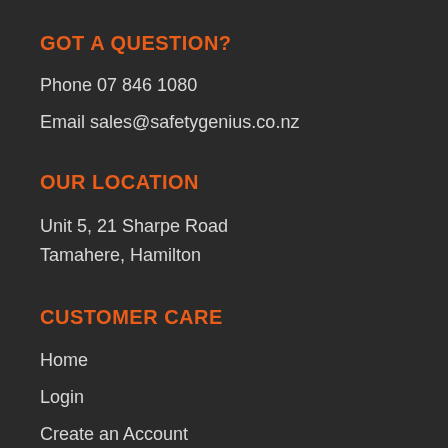GOT A QUESTION?
Phone 07 846 1080
Email sales@safetygenius.co.nz
OUR LOCATION
Unit 5, 21 Sharpe Road
Tamahere, Hamilton
CUSTOMER CARE
Home
Login
Create an Account